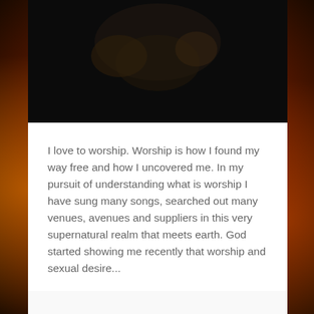[Figure (photo): Dark background photo at top of card, appears to show a figure with dramatic lighting]
I love to worship. Worship is how I found my way free and how I uncovered me. In my pursuit of understanding what is worship I have sung many songs, searched out many venues, avenues and suppliers in this very supernatural realm that meets earth. God started showing me recently that worship and sexual desire...
Continue Reading →
May 14, 2018   0